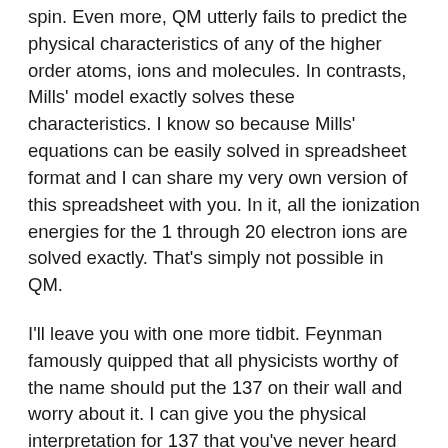spin. Even more, QM utterly fails to predict the physical characteristics of any of the higher order atoms, ions and molecules. In contrasts, Mills' model exactly solves these characteristics. I know so because Mills' equations can be easily solved in spreadsheet format and I can share my very own version of this spreadsheet with you. In it, all the ionization energies for the 1 through 20 electron ions are solved exactly. That's simply not possible in QM.
I'll leave you with one more tidbit. Feynman famously quipped that all physicists worthy of the name should put the 137 on their wall and worry about it. I can give you the physical interpretation for 137 that you've never heard but once you do you'll never forget. The fine structure constant is the ratio to the Bohr radius of a perfect spherical resonator cavity in free space with a harmonic frequency that exactly matches the photon with rest mass equal to the electron. What does that mean? Think of free space with its vacuum permittivity and permeability, and So it is which relates to resting...